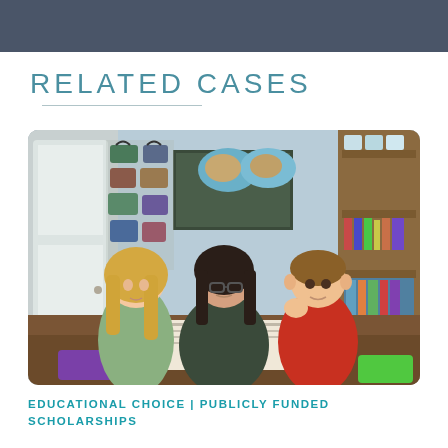RELATED CASES
[Figure (photo): A woman with glasses and dark hair sits at a table with two children — a girl with long blonde hair on the left and a boy in a red shirt on the right — reading from an open book together. Behind them is a chalkboard, a world map on the wall, colorful bags hanging on the wall, and shelves with books and supplies.]
EDUCATIONAL CHOICE | PUBLICLY FUNDED SCHOLARSHIPS